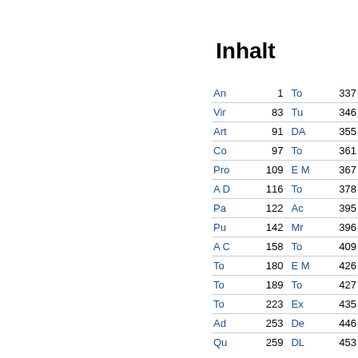Inhalt
| Entry | Page | Entry | Page |
| --- | --- | --- | --- |
| An | 1 | To | 337 |
| Vir | 83 | Tu | 346 |
| Art | 91 | DA | 355 |
| Co | 97 | To | 361 |
| Pro | 109 | E M | 367 |
| A D | 116 | To | 378 |
| Pa | 122 | Ac | 395 |
| Pu | 142 | Mr | 396 |
| A C | 158 | To | 409 |
| To | 180 | E M | 426 |
| To | 189 | To | 427 |
| To | 223 | Ex | 435 |
| Ad | 253 | De | 446 |
| Qu | 259 | DL | 453 |